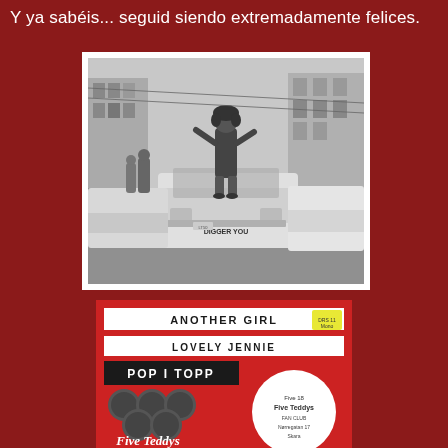Y ya sabéis... seguid siendo extremadamente felices.
[Figure (photo): Black and white photograph of a man standing on the hood of a car on a busy street. The car reads 'DIGGER YOU' on the front. Other cars and people are visible in the street scene.]
[Figure (photo): Record/music sleeve cover for 'ANOTHER GIRL / LOVELY JENNIE' by Five Teddys. Red and white design with 'POP I TOPP' text and circular band photos. Includes Fan Club information on a white circle on the right.]